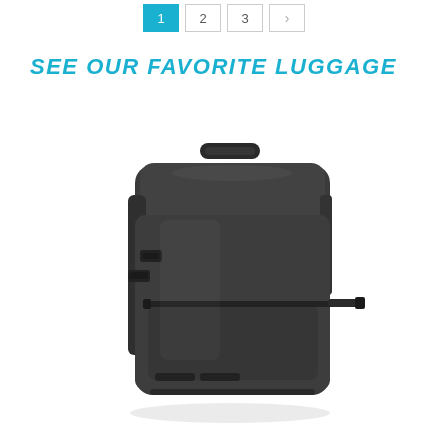1 2 3 >
SEE OUR FAVORITE LUGGAGE
[Figure (photo): A black travel backpack / carry-on bag photographed on a white background. The bag is a large, structured dark charcoal/black backpack with multiple compartments, a front zippered pocket with a horizontal zipper detail, side straps, top carry handle, and back panel with shoulder straps visible on the left side.]